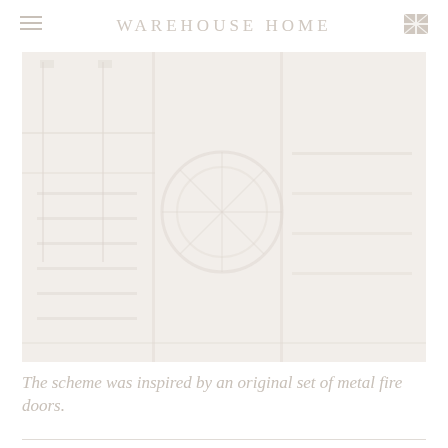WAREHOUSE HOME
[Figure (photo): A very light, washed-out black and white photograph showing an architectural interior/exterior scene with ornate metal railings, columns, and structural details. The image is extremely faded and pale, appearing almost white with subtle grey tones suggesting a warehouse or industrial building with decorative ironwork.]
The scheme was inspired by an original set of metal fire doors.